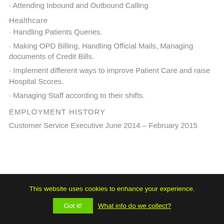· Attending Inbound and Outbound Calling
Healthcare
· Handling Patients Queries.
· Making OPD Billing, Handling Official Mails, Managing documents of Credit Bills.
· Implement different ways to improve Patient Care and raise Hospital Scores.
· Managing Staff according to their shifts.
EMPLOYMENT HISTORY
Customer Service Executive June 2014 – February 2015
This website uses cookies to enhance your experience.
Got it!  What info do we collect?